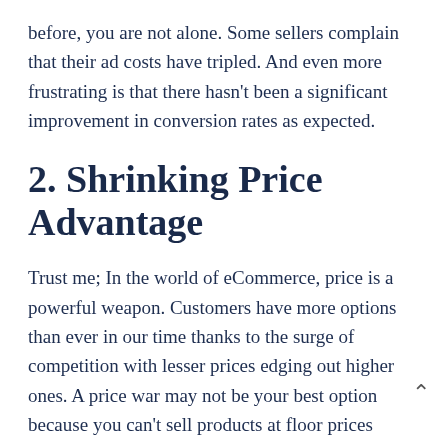before, you are not alone. Some sellers complain that their ad costs have tripled. And even more frustrating is that there hasn't been a significant improvement in conversion rates as expected.
2. Shrinking Price Advantage
Trust me; In the world of eCommerce, price is a powerful weapon. Customers have more options than ever in our time thanks to the surge of competition with lesser prices edging out higher ones. A price war may not be your best option because you can't sell products at floor prices